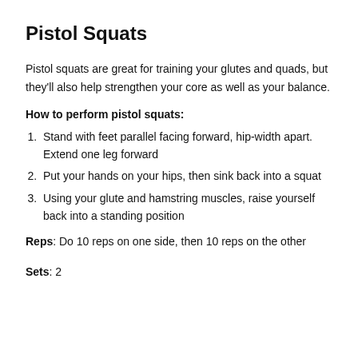Pistol Squats
Pistol squats are great for training your glutes and quads, but they'll also help strengthen your core as well as your balance.
How to perform pistol squats:
Stand with feet parallel facing forward, hip-width apart. Extend one leg forward
Put your hands on your hips, then sink back into a squat
Using your glute and hamstring muscles, raise yourself back into a standing position
Reps: Do 10 reps on one side, then 10 reps on the other
Sets: 2